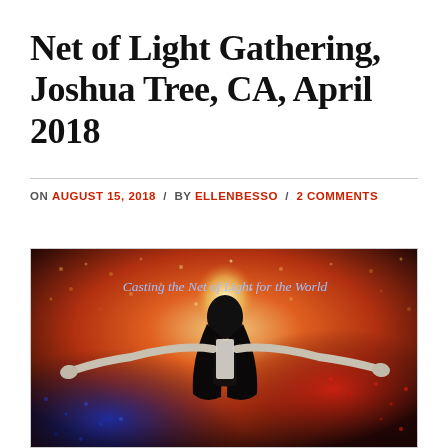Net of Light Gathering, Joshua Tree, CA, April 2018
ON AUGUST 15, 2018 / BY ELLENBESSO / 2 COMMENTS
[Figure (illustration): Painting of a woman with arms spread wide against a cosmic, colorful background of orange, red, and blue dotted light. Text overlay reads: 'Casting the Net of Light for the World']